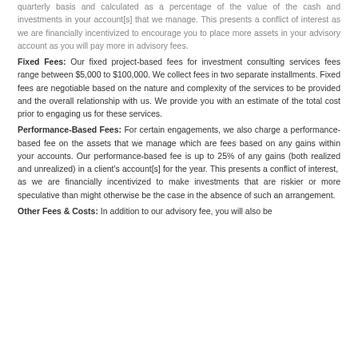quarterly basis and calculated as a percentage of the value of the cash and investments in your account[s] that we manage. This presents a conflict of interest as we are financially incentivized to encourage you to place more assets in your advisory account as you will pay more in advisory fees.
Fixed Fees: Our fixed project-based fees for investment consulting services fees range between $5,000 to $100,000. We collect fees in two separate installments. Fixed fees are negotiable based on the nature and complexity of the services to be provided and the overall relationship with us. We provide you with an estimate of the total cost prior to engaging us for these services.
Performance-Based Fees: For certain engagements, we also charge a performance-based fee on the assets that we manage which are fees based on any gains within your accounts. Our performance-based fee is up to 25% of any gains (both realized and unrealized) in a client's account[s] for the year. This presents a conflict of interest, as we are financially incentivized to make investments that are riskier or more speculative than might otherwise be the case in the absence of such an arrangement.
Other Fees & Costs: In addition to our advisory fee, you will also be